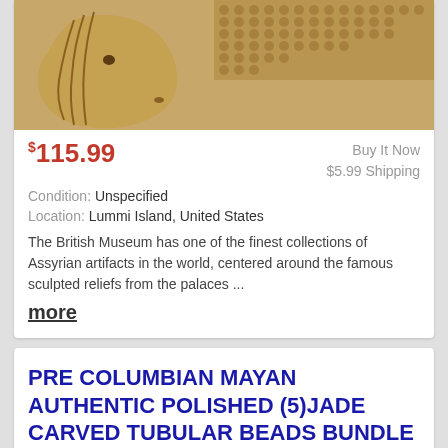[Figure (photo): Close-up photo of a sandy/tan colored Assyrian sculpted relief showing a horse head and textured body carving from the British Museum collection]
$115.99   Buy It Now   $5.99 Shipping   Condition: Unspecified   Location: Lummi Island, United States
The British Museum has one of the finest collections of Assyrian artifacts in the world, centered around the famous sculpted reliefs from the palaces ...
more
PRE COLUMBIAN MAYAN AUTHENTIC POLISHED (5)JADE CARVED TUBULAR BEADS BUNDLE DEAL
[Figure (photo): Photo of jade carved tubular beads - green and tan colored stone beads against a light gray/blue background]